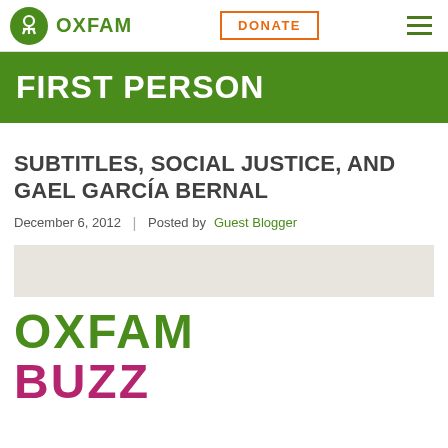OXFAM | DONATE
FIRST PERSON
SUBTITLES, SOCIAL JUSTICE, AND GAEL GARCÍA BERNAL
December 6, 2012 | Posted by Guest Blogger
[Figure (logo): Oxfam Buzz logo — OXFAM in green and BUZZ in magenta/pink large bold text]